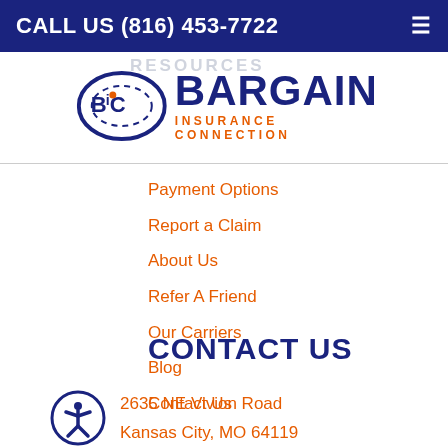CALL US (816) 453-7722
[Figure (logo): Bargain Insurance Connection logo with BIC emblem and road graphic]
Payment Options
Report a Claim
About Us
Refer A Friend
Our Carriers
Blog
Contact Us
CONTACT US
2635 NE Vivion Road
Kansas City, MO 64119
O: (816) 453-7722